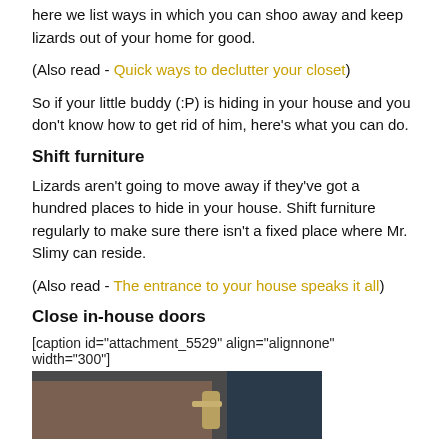here we list ways in which you can shoo away and keep lizards out of your home for good.
(Also read - Quick ways to declutter your closet)
So if your little buddy (:P) is hiding in your house and you don't know how to get rid of him, here's what you can do.
Shift furniture
Lizards aren't going to move away if they've got a hundred places to hide in your house. Shift furniture regularly to make sure there isn't a fixed place where Mr. Slimy can reside.
(Also read - The entrance to your house speaks it all)
Close in-house doors
[caption id="attachment_5529" align="alignnone" width="300"]
[Figure (photo): A hand closing or touching a door handle, partially visible at bottom of page]